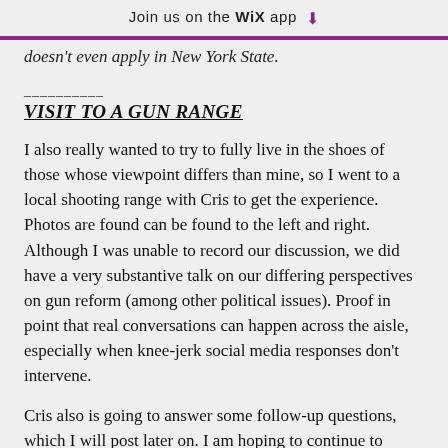Join us on the WiX app ⬇
doesn't even apply in New York State.
VISIT TO A GUN RANGE
I also really wanted to try to fully live in the shoes of those whose viewpoint differs than mine, so I went to a local shooting range with Cris to get the experience. Photos are found can be found to the left and right. Although I was unable to record our discussion, we did have a very substantive talk on our differing perspectives on gun reform (among other political issues). Proof in point that real conversations can happen across the aisle, especially when knee-jerk social media responses don't intervene.
Cris also is going to answer some follow-up questions, which I will post later on. I am hoping to continue to